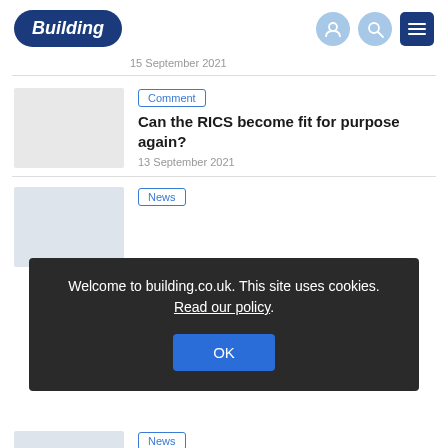Building
15 September 2021
Comment
Can the RICS become fit for purpose again?
13 September 2021
News
Welcome to building.co.uk. This site uses cookies. Read our policy.
OK
News